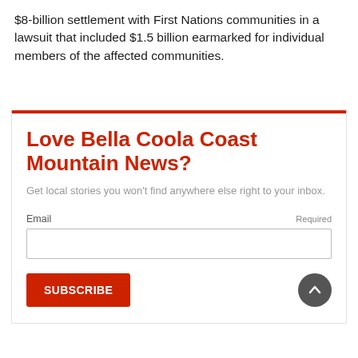$8-billion settlement with First Nations communities in a lawsuit that included $1.5 billion earmarked for individual members of the affected communities.
Love Bella Coola Coast Mountain News?
Get local stories you won't find anywhere else right to your inbox.